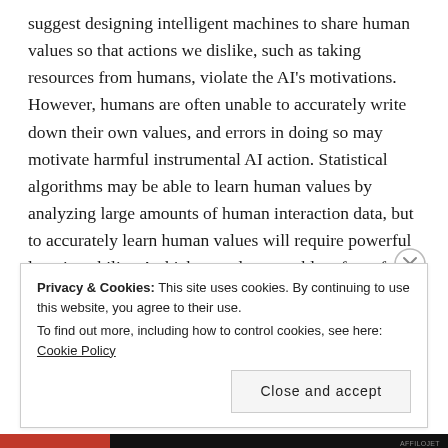suggest designing intelligent machines to share human values so that actions we dislike, such as taking resources from humans, violate the AI's motivations. However, humans are often unable to accurately write down their own values, and errors in doing so may motivate harmful instrumental AI action. Statistical algorithms may be able to learn human values by analyzing large amounts of human interaction data, but to accurately learn human values will require powerful learning ability. A chicken-and-egg problem for safe AI follows: learning human values requires powerful AI, but safe AI requires knowledge of human values.
Privacy & Cookies: This site uses cookies. By continuing to use this website, you agree to their use. To find out more, including how to control cookies, see here: Cookie Policy